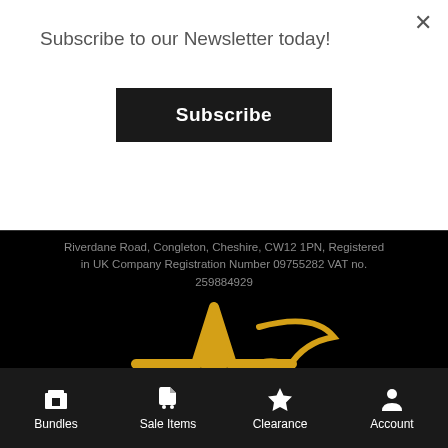Subscribe to our Newsletter today!
Subscribe
Riverdane Road, Congleton, Cheshire, CW12 1PN, Registered in UK Company Registration Number 09755282 VAT no. 259884929
[Figure (logo): Award logo — gold star outline with a checkmark swoosh and the word AWARD below]
Bundles
Sale Items
Clearance
Account